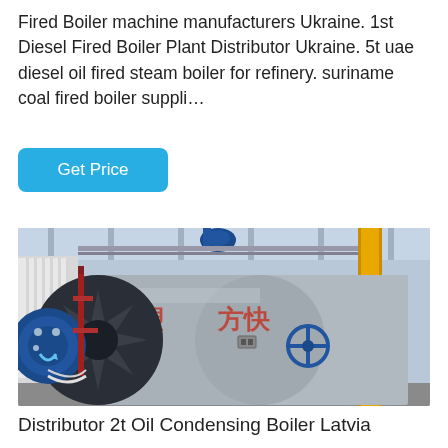Fired Boiler machine manufacturers Ukraine. 1st Diesel Fired Boiler Plant Distributor Ukraine. 5t uae diesel oil fired steam boiler for refinery. suriname coal fired boiler suppli…
[Figure (photo): Industrial boiler facility showing a large horizontal steam boiler with blue burner motor assembly on the left, Chinese characters on the boiler body, blue control valve on the right side, yellow vertical pipe column, and red piping infrastructure in an industrial building.]
Distributor 2t Oil Condensing Boiler Latvia